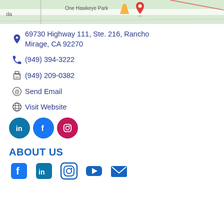[Figure (map): Google Maps snippet showing 'One Hawkeye Park' location with a map pin marker]
69730 Highway 111, Ste. 216, Rancho Mirage, CA 92270
(949) 394-3222
(949) 209-0382
Send Email
Visit Website
[Figure (infographic): Three social media circles: LinkedIn (teal), Facebook (blue), Instagram (pink/magenta)]
ABOUT US
[Figure (infographic): Five social media footer icons: Facebook, LinkedIn, Instagram, YouTube, Email]